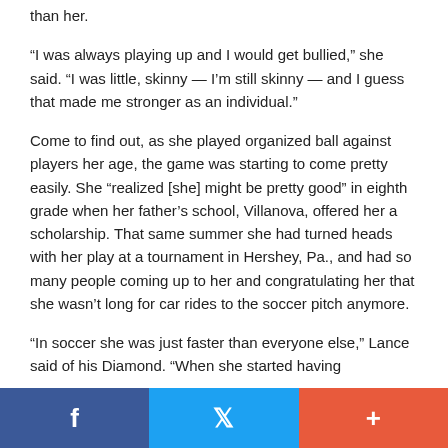than her.
“I was always playing up and I would get bullied,” she said. “I was little, skinny — I’m still skinny — and I guess that made me stronger as an individual.”
Come to find out, as she played organized ball against players her age, the game was starting to come pretty easily. She “realized [she] might be pretty good” in eighth grade when her father’s school, Villanova, offered her a scholarship. That same summer she had turned heads with her play at a tournament in Hershey, Pa., and had so many people coming up to her and congratulating her that she wasn’t long for car rides to the soccer pitch anymore.
“In soccer she was just faster than everyone else,” Lance said of his Diamond. “When she started having